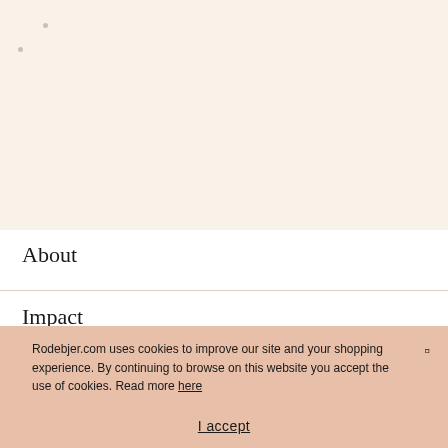[Figure (other): Beige/cream background area with two small grey dots in the upper left portion of the page]
About
Impact
Rodebjer.com uses cookies to improve our site and your shopping experience. By continuing to browse on this website you accept the use of cookies. Read more here
I accept